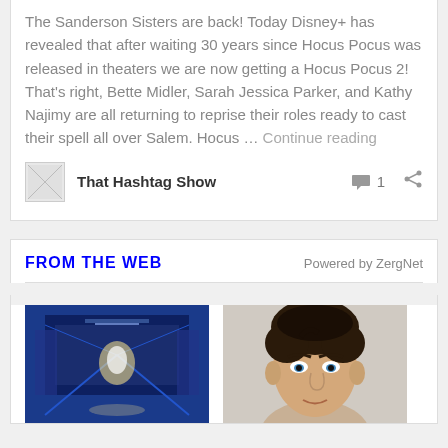The Sanderson Sisters are back! Today Disney+ has revealed that after waiting 30 years since Hocus Pocus was released in theaters we are now getting a Hocus Pocus 2! That's right, Bette Midler, Sarah Jessica Parker, and Kathy Najimy are all returning to reprise their roles ready to cast their spell all over Salem. Hocus … Continue reading
That Hashtag Show   1
FROM THE WEB
Powered by ZergNet
[Figure (photo): Screenshot of a sci-fi game corridor scene with blue lighting]
[Figure (photo): Portrait photo of a dark-haired man]